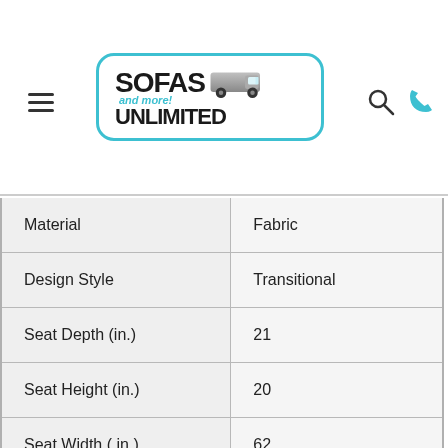[Figure (logo): Sofas Unlimited and more! logo with teal rounded border, grey delivery van graphic]
| Material | Fabric |
| Design Style | Transitional |
| Seat Depth (in.) | 21 |
| Seat Height (in.) | 20 |
| Seat Width ( in.) | 62 |
| Collection | Simplicity |
| Age Group | Adult |